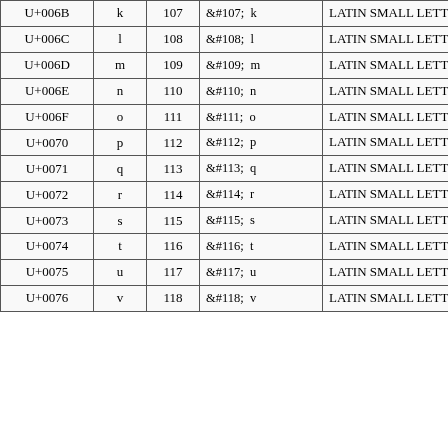| U+006B | k | 107 | &#107;   k | LATIN SMALL LETTER K |
| U+006C | l | 108 | &#108;   l | LATIN SMALL LETTER L |
| U+006D | m | 109 | &#109;   m | LATIN SMALL LETTER M |
| U+006E | n | 110 | &#110;   n | LATIN SMALL LETTER N |
| U+006F | o | 111 | &#111;   o | LATIN SMALL LETTER O |
| U+0070 | p | 112 | &#112;   p | LATIN SMALL LETTER P |
| U+0071 | q | 113 | &#113;   q | LATIN SMALL LETTER Q |
| U+0072 | r | 114 | &#114;   r | LATIN SMALL LETTER R |
| U+0073 | s | 115 | &#115;   s | LATIN SMALL LETTER S |
| U+0074 | t | 116 | &#116;   t | LATIN SMALL LETTER T |
| U+0075 | u | 117 | &#117;   u | LATIN SMALL LETTER U |
| U+0076 | v | 118 | &#118;   v | LATIN SMALL LETTER V |